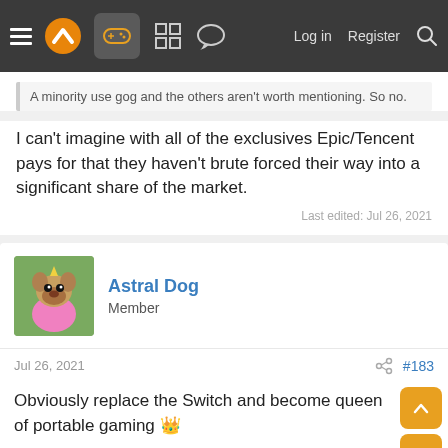Navigation bar with hamburger menu, logo, gamepad icon, board icon, chat icon, Log in, Register, Search
A minority use gog and the others aren't worth mentioning. So no.
I can't imagine with all of the exclusives Epic/Tencent pays for that they haven't brute forced their way into a significant share of the market.
Last edited: Jul 26, 2021
Astral Dog
Member
Jul 26, 2021
#183
Obviously replace the Switch and become queen of portable gaming 👑
Sean Mirrsen
Banned